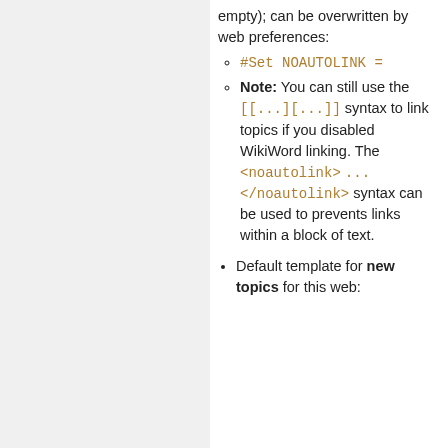empty); can be overwritten by web preferences:
#Set NOAUTOLINK =
Note: You can still use the [[...][...]] syntax to link topics if you disabled WikiWord linking. The <noautolink> ... </noautolink> syntax can be used to prevents links within a block of text.
Default template for new topics for this web: